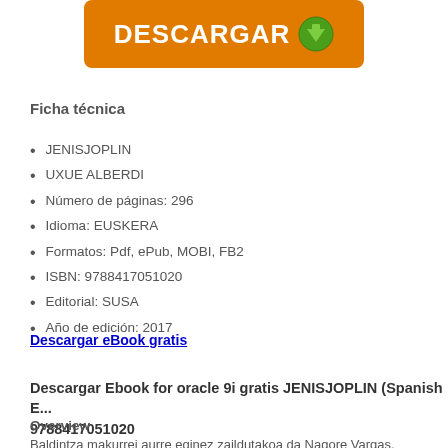[Figure (other): Orange download button with white bold text DESCARGAR and green arrow icon]
Ficha técnica
JENISJOPLIN
UXUE ALBERDI
Número de páginas: 296
Idioma: EUSKERA
Formatos: Pdf, ePub, MOBI, FB2
ISBN: 9788417051020
Editorial: SUSA
Año de edición: 2017
Descargar eBook gratis
Descargar Ebook for oracle 9i gratis JENISJOPLIN (Spanish E... 9788417051020
Overview
Baldintza makurrei aurre eginez zaildutakoa da Nagore Vargas, gaztaroa intents...